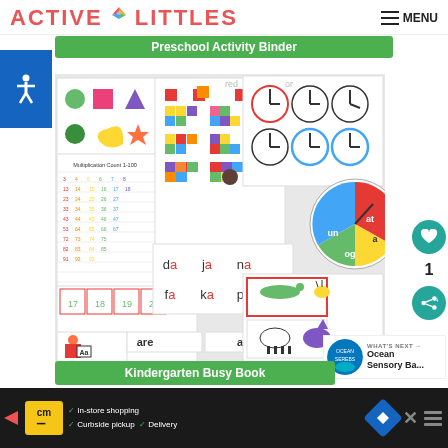ACTIVE LITTLES — MENU
Preschool Activity Binder
[Figure (photo): Collage of preschool/kindergarten educational worksheets including shapes, number grids, alphabet blocks, letter cards, word cards, clocks, and a word family spinner]
1
[Figure (photo): What's Next thumbnail - Ocean Sensory Ba...]
Kindergarten Busy Book
[Figure (photo): Advertisement banner: cm logo - In-store shopping, Curbside pickup, Delivery with navigation icon]